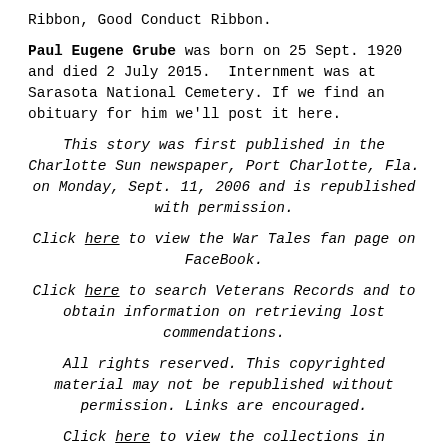Ribbon, Good Conduct Ribbon.
Paul Eugene Grube was born on 25 Sept. 1920 and died 2 July 2015.  Internment was at Sarasota National Cemetery. If we find an obituary for him we'll post it here.
This story was first published in the Charlotte Sun newspaper, Port Charlotte, Fla. on Monday, Sept. 11, 2006 and is republished with permission.
Click here to view the War Tales fan page on FaceBook.
Click here to search Veterans Records and to obtain information on retrieving lost commendations.
All rights reserved. This copyrighted material may not be republished without permission. Links are encouraged.
Click here to view the collections in alphabetical order in the Library of Congress. This veteran's story will not be posted on this site, as the interview was conducted long before Don started writing for the Library of Congress.